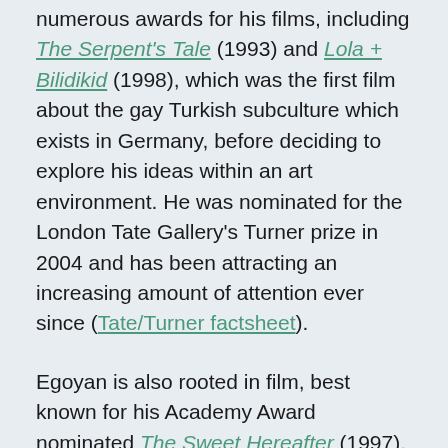numerous awards for his films, including The Serpent's Tale (1993) and Lola + Bilidikid (1998), which was the first film about the gay Turkish subculture which exists in Germany, before deciding to explore his ideas within an art environment. He was nominated for the London Tate Gallery's Turner prize in 2004 and has been attracting an increasing amount of attention ever since (Tate/Turner factsheet).
Egoyan is also rooted in film, best known for his Academy Award nominated The Sweet Hereafter (1997). But the Canadian director has since branched out to direct opera and create art.
The joint work by this multi-faceted pair ...